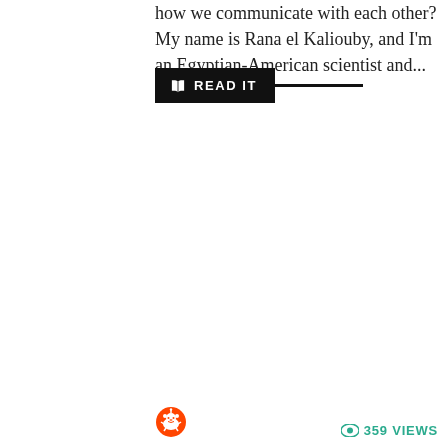how we communicate with each other? My name is Rana el Kaliouby, and I'm an Egyptian-American scientist and...
[Figure (other): READ IT button with black background and open book icon, followed by a black horizontal line]
[Figure (other): Reddit alien/snoo icon at bottom left]
359 VIEWS